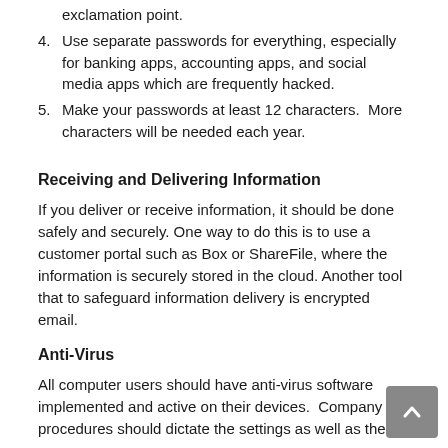exclamation point.
4. Use separate passwords for everything, especially for banking apps, accounting apps, and social media apps which are frequently hacked.
5. Make your passwords at least 12 characters.  More characters will be needed each year.
Receiving and Delivering Information
If you deliver or receive information, it should be done safely and securely. One way to do this is to use a customer portal such as Box or ShareFile, where the information is securely stored in the cloud. Another tool that to safeguard information delivery is encrypted email.
Anti-Virus
All computer users should have anti-virus software implemented and active on their devices.  Company procedures should dictate the settings as well as the